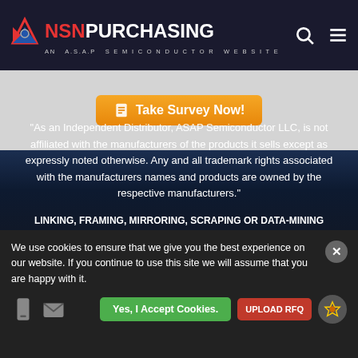NSN PURCHASING — AN A.S.A.P SEMICONDUCTOR WEBSITE
[Figure (screenshot): Take Survey Now! orange button on light gray survey banner]
"As an Independent Distributor, ASAP Semiconductor LLC, is not affiliated with the manufacturers of the products it sells except as expressly noted otherwise. Any and all trademark rights associated with the manufacturers names and products are owned by the respective manufacturers."
LINKING, FRAMING, MIRRORING, SCRAPING OR DATA-MINING STRICTLY PROHIBITED
Copyright © 2022, All rights reserved to NSN Purchasing.
We use cookies to ensure that we give you the best experience on our website. If you continue to use this site we will assume that you are happy with it.